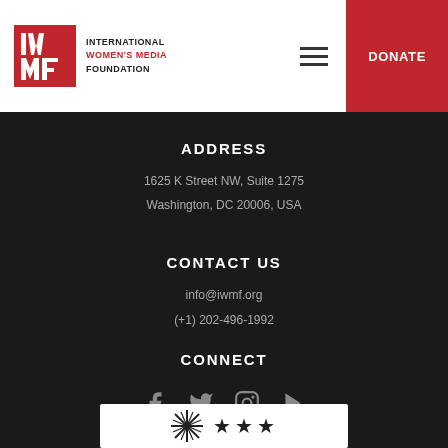[Figure (logo): IWMF International Women's Media Foundation logo with red square containing stylized IW/MF letters, organization name to the right, hamburger menu icon, and red DONATE button]
ADDRESS
1625 K Street NW, Suite 1275
Washington, DC 20006, USA
CONTACT US
info@iwmf.org
(+1) 202-496-1992
CONNECT
[Figure (infographic): Social media icons: Facebook, Twitter, Instagram, YouTube]
[Figure (infographic): Charity Navigator 3-star rating badge at the bottom of the page]